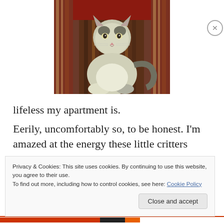[Figure (photo): A gray and white cat sitting on a colorful striped armchair/sofa with red, brown, and multicolor fabric]
lifeless my apartment is.
Eerily, uncomfortably so, to be honest. I'm amazed at the energy these little critters bring. For a while now I've said
Privacy & Cookies: This site uses cookies. By continuing to use this website, you agree to their use.
To find out more, including how to control cookies, see here: Cookie Policy
Close and accept